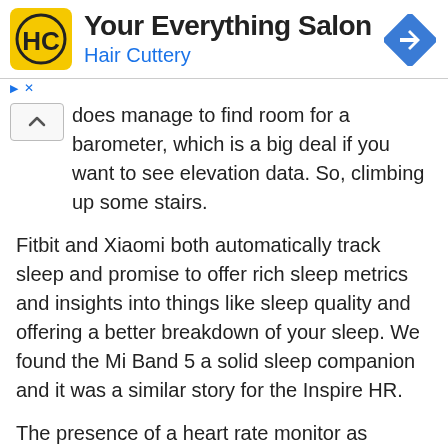[Figure (logo): Hair Cuttery advertisement banner with yellow square logo showing HC letters, title 'Your Everything Salon', subtitle 'Hair Cuttery' in blue, and a blue diamond-shaped arrow icon on the right]
does manage to find room for a barometer, which is a big deal if you want to see elevation data. So, climbing up some stairs.
Fitbit and Xiaomi both automatically track sleep and promise to offer rich sleep metrics and insights into things like sleep quality and offering a better breakdown of your sleep. We found the Mi Band 5 a solid sleep companion and it was a similar story for the Inspire HR.
The presence of a heart rate monitor as mentioned, is able to power additional features on these trackers. In the case of the Mi Band 5, you're getting guided breathing exercises, the ability to detect abnormalities in heart rate and new PAI fitness scores. These scores are designed to rate your weekly activity based on how regularly you get the heart pumping.